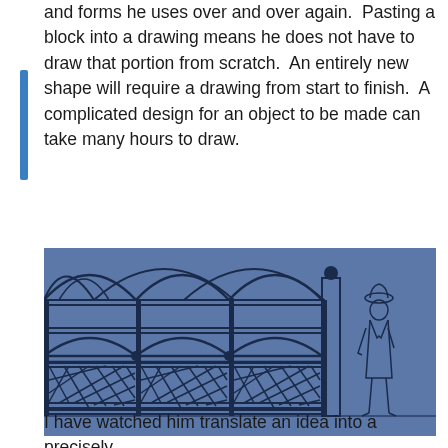and forms he uses over and over again.  Pasting a block into a drawing means he does not have to draw that portion from scratch.  An entirely new shape will require a drawing from start to finish.  A complicated design for an object to be made can take many hours to draw.
[Figure (engineering-diagram): A CAD/technical drawing on a blue background showing an elevation view of an ornamental fence or gate structure with arched panels, diamond lattice lower section, and a human figure for scale standing to the right.]
I have watched him translate an idea into a precisely